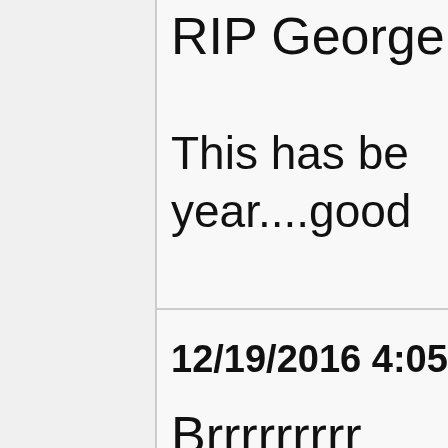RIP George
This has be year....good
12/19/2016 4:05:5
Brrrrrrrrr